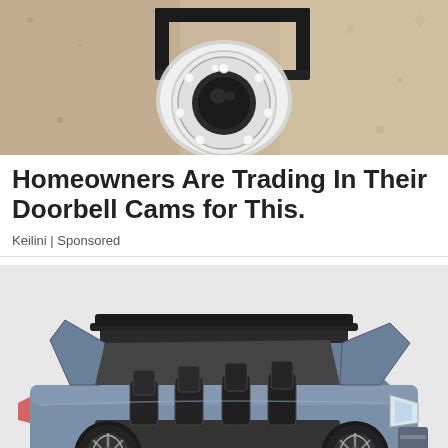[Figure (photo): Close-up photo of a security camera mounted on a wall bracket against a textured beige/tan wall. The camera is circular and white with LED lights around the lens, mounted on a black metal bracket.]
Homeowners Are Trading In Their Doorbell Cams for This.
Keilini | Sponsored
[Figure (photo): Photo of a luxury SUV (Lincoln Navigator concept) with gull-wing doors open and passenger steps extended, showing the interior seats. The vehicle is blue-grey with large black turbine-style wheels, displayed on a light grey surface.]